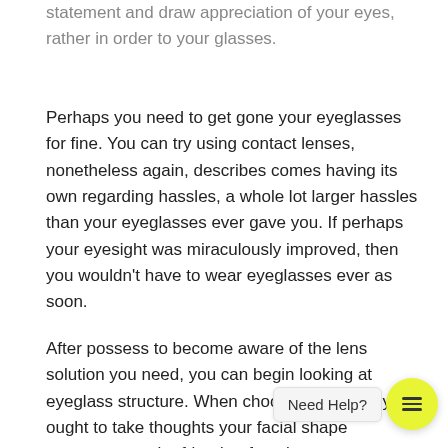statement and draw appreciation of your eyes, rather in order to your glasses.
Perhaps you need to get gone your eyeglasses for fine. You can try using contact lenses, nonetheless again, describes comes having its own regarding hassles, a whole lot larger hassles than your eyeglasses ever gave you. If perhaps your eyesight was miraculously improved, then you wouldn't have to wear eyeglasses ever as soon.
After possess to become aware of the lens solution you need, you can begin looking at eyeglass structure. When choosing a frame, you ought to take thoughts your facial shape a... be... friend or favorite actor may wear a layout you lo... but bear in mind every shape is not perfect that. What